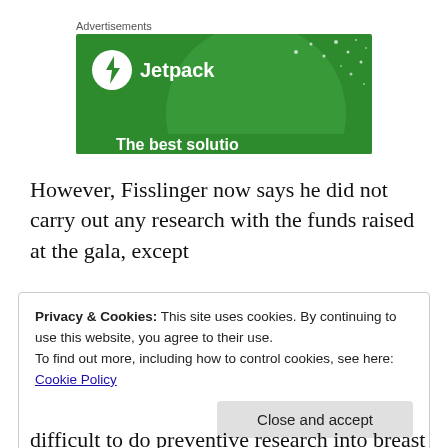[Figure (advertisement): Jetpack advertisement banner with green background, Jetpack logo (circle with lightning bolt icon) and text 'Jetpack', with decorative circles and dots. Partial text visible at bottom.]
However, Fisslinger now says he did not carry out any research with the funds raised at the gala, except
Privacy & Cookies: This site uses cookies. By continuing to use this website, you agree to their use.
To find out more, including how to control cookies, see here: Cookie Policy
Close and accept
difficult to do preventive research into breast cancer